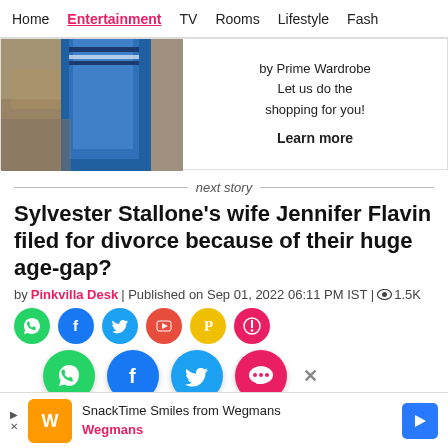Home | Entertainment | TV | Rooms | Lifestyle | Fash
[Figure (infographic): Advertisement banner with image of blue and denim clothing on the left and text 'by Prime Wardrobe / Let us do the shopping for you! / Learn more' on the right]
next story
Sylvester Stallone's wife Jennifer Flavin filed for divorce because of their huge age-gap?
by Pinkvilla Desk | Published on Sep 01, 2022 06:11 PM IST | ⊙ 1.5K
[Figure (infographic): Social media share icons row 1: green WhatsApp, blue Facebook, light blue Twitter, orange YouTube, yellow Pinterest, pink/red icon]
[Figure (infographic): Social sharing popup with WhatsApp (green), Facebook (dark blue), Twitter (light blue), and chat bubble (pink/red) icons, with X close button]
[Figure (infographic): Advertisement footer: SnackTime Smiles from Wegmans, Wegmans brand with navigation arrow icon]